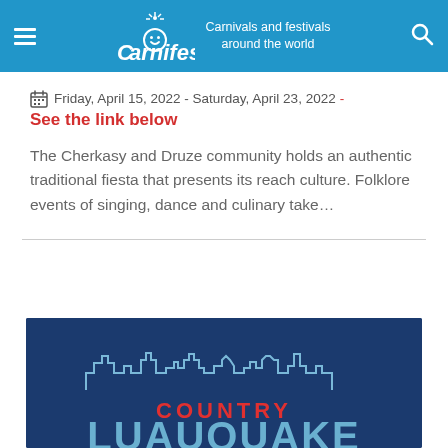Carnifest — Carnivals and festivals around the world
Friday, April 15, 2022 - Saturday, April 23, 2022 - See the link below
The Cherkasy and Druze community holds an authentic traditional fiesta that presents its reach culture. Folklore events of singing, dance and culinary take...
[Figure (logo): Country LuauShake event logo on dark blue background with city skyline outline]